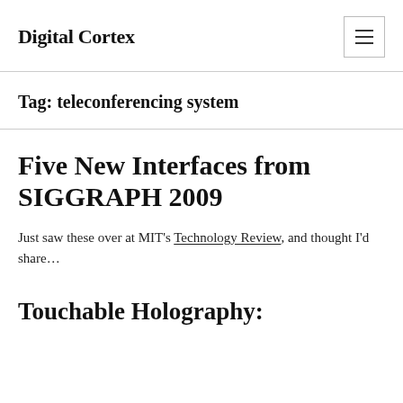Digital Cortex
Tag: teleconferencing system
Five New Interfaces from SIGGRAPH 2009
Just saw these over at MIT's Technology Review, and thought I'd share…
Touchable Holography: